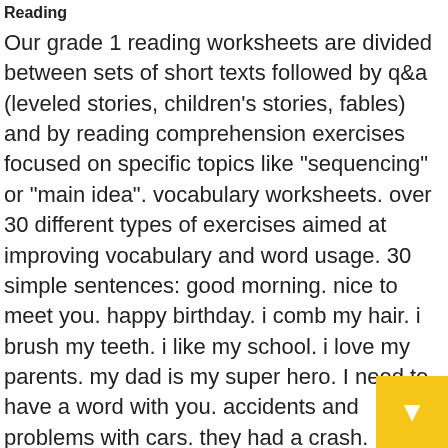Reading
Our grade 1 reading worksheets are divided between sets of short texts followed by q&a (leveled stories, children's stories, fables) and by reading comprehension exercises focused on specific topics like "sequencing" or "main idea". vocabulary worksheets. over 30 different types of exercises aimed at improving vocabulary and word usage. 30 simple sentences: good morning. nice to meet you. happy birthday. i comb my hair. i brush my teeth. i like my school. i love my parents. my dad is my super hero. I need to have a word with you. accidents and problems with cars. they had a crash. sleeping. i had a good night's sleep. travel. have a safe trip. have ands are used with the past participle of other ver